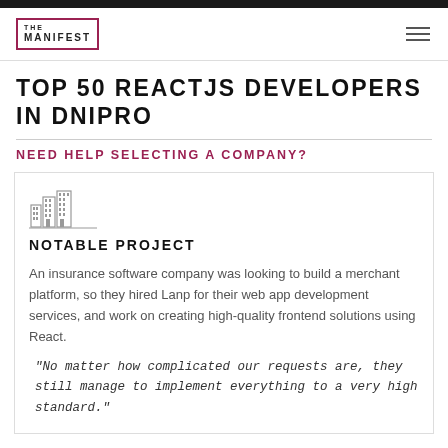THE MANIFEST
TOP 50 REACTJS DEVELOPERS IN DNIPRO
NEED HELP SELECTING A COMPANY?
[Figure (logo): Building/company logo icon]
NOTABLE PROJECT
An insurance software company was looking to build a merchant platform, so they hired Lanp for their web app development services, and work on creating high-quality frontend solutions using React.
"No matter how complicated our requests are, they still manage to implement everything to a very high standard."